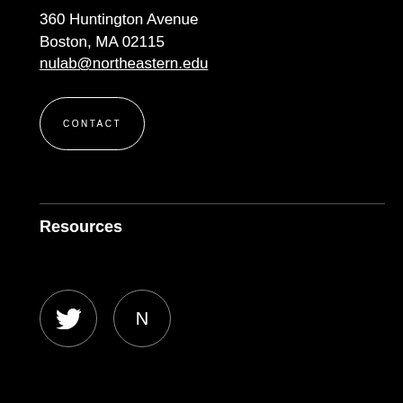360 Huntington Avenue
Boston, MA 02115
nulab@northeastern.edu
CONTACT
Resources
[Figure (other): Twitter bird icon in a circle and N letter in a circle — social media icon buttons]